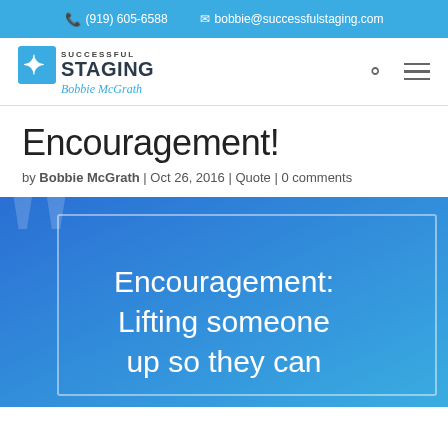(919) 605-6588  bobbie@successfulstaging.com
[Figure (logo): Successful Staging logo with teal pinwheel icon and script signature 'Bobbie McGrath']
Encouragement!
by Bobbie McGrath | Oct 26, 2016 | Quote | 0 comments
[Figure (illustration): Blue gradient quote image with large quotation marks and text: Encouragement: Lifting someone up so they can]